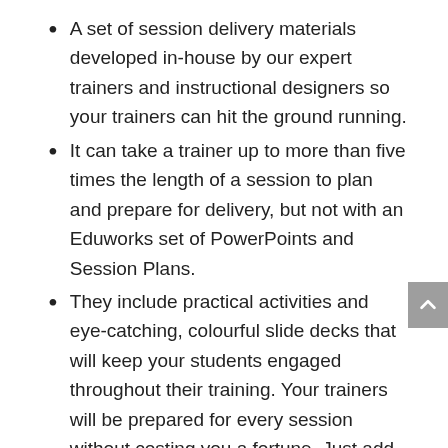A set of session delivery materials developed in-house by our expert trainers and instructional designers so your trainers can hit the ground running.
It can take a trainer up to more than five times the length of a session to plan and prepare for delivery, but not with an Eduworks set of PowerPoints and Session Plans.
They include practical activities and eye-catching, colourful slide decks that will keep your students engaged throughout their training. Your trainers will be prepared for every session without costing you a fortune. Just add your own timing to suit your